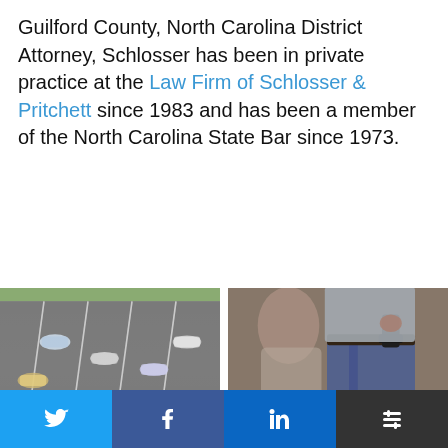Guilford County, North Carolina District Attorney, Schlosser has been in private practice at the Law Firm of Schlosser & Pritchett since 1983 and has been a member of the North Carolina State Bar since 1973.
[Figure (photo): Aerial view of a busy highway with multiple lanes of traffic, cars in motion with motion blur]
What Is Considered
[Figure (photo): Person wearing jeans with a handgun tucked into waistband, another person visible in background]
Can You Lose Your Guns